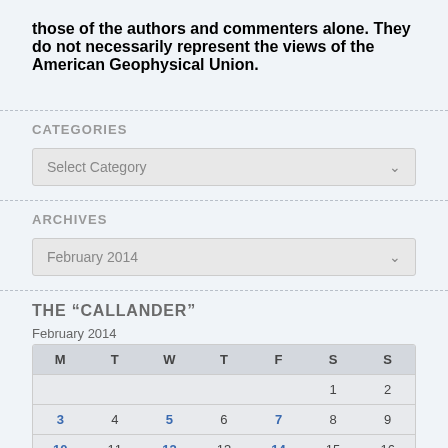those of the authors and commenters alone. They do not necessarily represent the views of the American Geophysical Union.
CATEGORIES
Select Category
ARCHIVES
February 2014
THE "CALLANDER"
February 2014
| M | T | W | T | F | S | S |
| --- | --- | --- | --- | --- | --- | --- |
|  |  |  |  |  | 1 | 2 |
| 3 | 4 | 5 | 6 | 7 | 8 | 9 |
| 10 | 11 | 12 | 13 | 14 | 15 | 16 |